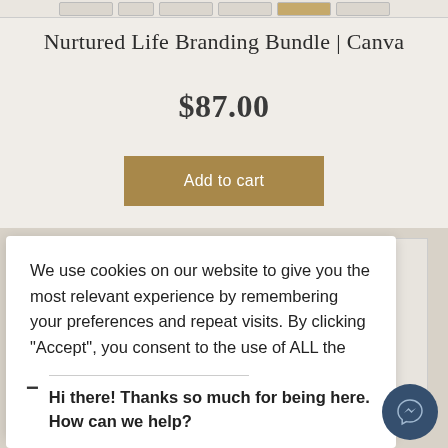[Figure (screenshot): Thumbnail image strip at top of product page]
Nurtured Life Branding Bundle | Canva
$87.00
Add to cart
We use cookies on our website to give you the most relevant experience by remembering your preferences and repeat visits. By clicking “Accept”, you consent to the use of ALL the cookies.
Do not sell my personal information.
Hi there! Thanks so much for being here. How can we help?
[Figure (screenshot): Cookie consent popup with messenger chat widget showing product page in background]